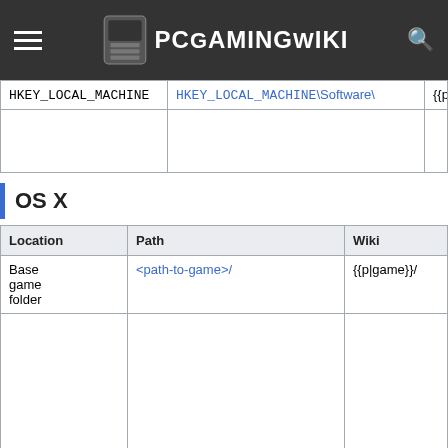PCGamingWiki
| Location | Path | Wiki |
| --- | --- | --- |
| HKEY_LOCAL_MACHINE | HKEY_LOCAL_MACHINE\Software\ | {{p|h |
|  |  |  |
OS X
| Location | Path | Wiki |
| --- | --- | --- |
| Base game folder | <path-to-game>/ | {{p|game}}/ |
|  |  |  |